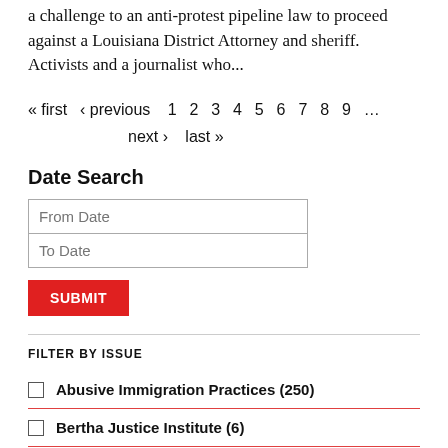a challenge to an anti-protest pipeline law to proceed against a Louisiana District Attorney and sheriff. Activists and a journalist who...
« first ‹ previous 1 2 3 4 5 6 7 8 9 … next › last »
Date Search
From Date
To Date
SUBMIT
FILTER BY ISSUE
Abusive Immigration Practices (250)
Bertha Justice Institute (6)
...